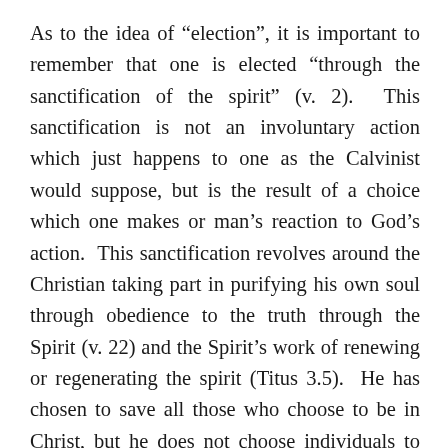As to the idea of “election”, it is important to remember that one is elected “through the sanctification of the spirit” (v. 2).  This sanctification is not an involuntary action which just happens to one as the Calvinist would suppose, but is the result of a choice which one makes or man’s reaction to God’s action.  This sanctification revolves around the Christian taking part in purifying his own soul through obedience to the truth through the Spirit (v. 22) and the Spirit’s work of renewing or regenerating the spirit (Titus 3.5).  He has chosen to save all those who choose to be in Christ, but he does not choose individuals to choose to be in Christ.  Fergusson states, “A common theological position holds to limited